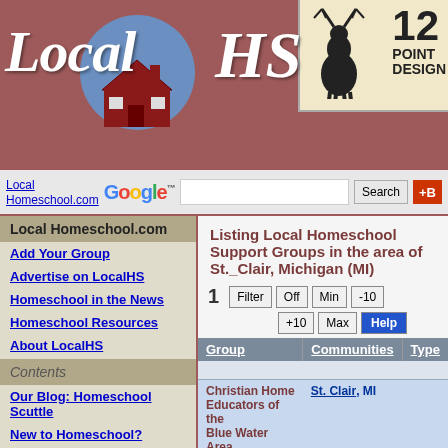[Figure (screenshot): LocalHS website header banner with logo on mauve/rose background, showing LocalHS italic logo text with blue circle and house illustration, and 12Point Design advertisement box in tan/cream color]
Local Homeschool.com
Google™ Search [button] +B
Local Homeschool.com
Add Your Group
Advertise on LocalHS
Homeschool in the News
Homeschool Resources
About LocalHS
Contents
Our Blog: Homeschool Scuttle
New to Homeschool?
Budget Homeschool
Listing Local Homeschool Support Groups in the area of St._Clair, Michigan (MI)
1  Filter  Off  Min  -10  +10  Max  Help
| Group | Communities | Type |
| --- | --- | --- |
|  |  |  |
| Christian Home Educators of the Blue Water Area | St. Clair, MI |  |